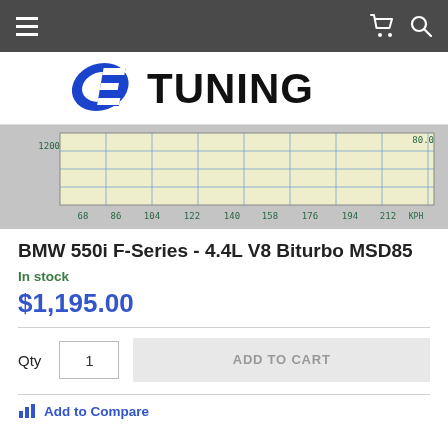OE Tuning — navigation bar with menu, cart, and search icons
[Figure (logo): OE Tuning logo with blue 'OE' stylized letters and bold black 'TUNING' text]
[Figure (screenshot): Dyno chart screenshot showing vehicle performance data with KPH x-axis labels: 68, 86, 104, 122, 140, 158, 176, 194, 212 KPH, and y-axis value 1200 visible, with 80.0 label in upper right]
BMW 550i F-Series - 4.4L V8 Biturbo MSD85
In stock
$1,195.00
Qty 1 ADD TO CART
Add to Compare